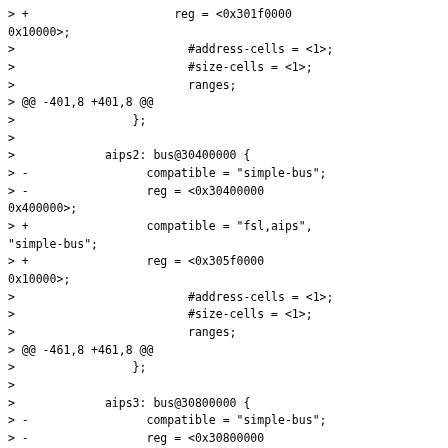> +                     reg = <0x301f0000
0x10000>;
>                         #address-cells = <1>;
>                         #size-cells = <1>;
>                         ranges;
> @@ -401,8 +401,8 @@
>                 };
>
>             aips2: bus@30400000 {
> -                 compatible = "simple-bus";
> -                 reg = <0x30400000
0x400000>;
> +                 compatible = "fsl,aips",
"simple-bus";
> +                 reg = <0x305f0000
0x10000>;
>                         #address-cells = <1>;
>                         #size-cells = <1>;
>                         ranges;
> @@ -461,8 +461,8 @@
>                 };
>
>             aips3: bus@30800000 {
> -                 compatible = "simple-bus";
> -                 reg = <0x30800000
0x400000>;
> +                 compatible = "fsl,aips",
"simple-bus";
> +                 reg = <0x309f0000
0x10000>;